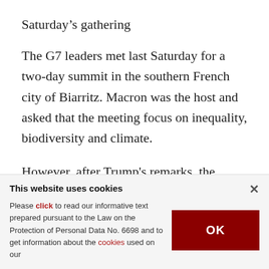Saturday’s gathering
The G7 leaders met last Saturday for a two-day summit in the southern French city of Biarritz. Macron was the host and asked that the meeting focus on inequality, biodiversity and climate.
However, after Trump's remarks, the financial markets went mad over the weekend, raising tariffs and making threats to force American companies
This website uses cookies
Please click to read our informative text prepared pursuant to the Law on the Protection of Personal Data No. 6698 and to get information about the cookies used on our